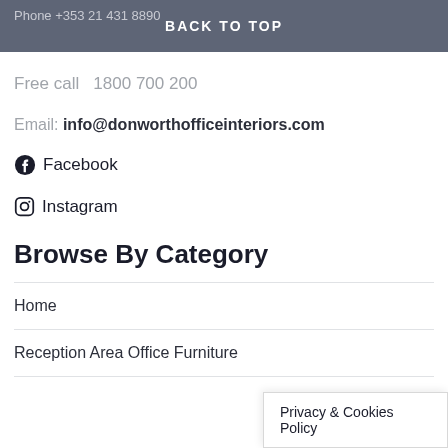Phone +353 21 431 8890
BACK TO TOP
Free call  1800 700 200
Email: info@donworthofficeinteriors.com
Facebook
Instagram
Browse By Category
Home
Reception Area Office Furniture
Privacy & Cookies Policy